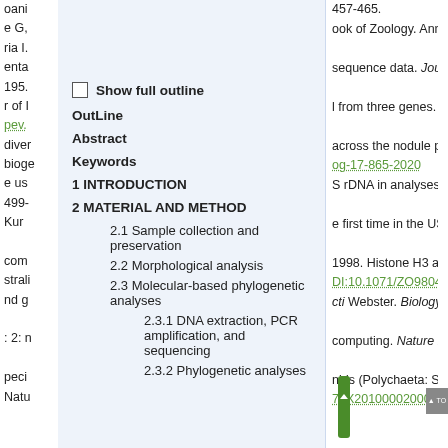Show full outline
OutLine
Abstract
Keywords
1 INTRODUCTION
2 MATERIAL AND METHOD
2.1 Sample collection and preservation
2.2 Morphological analysis
2.3 Molecular-based phylogenetic analyses
2.3.1 DNA extraction, PCR amplification, and sequencing
2.3.2 Phylogenetic analyses
457-465.
ook of Zoology. Annelida.
sequence data. Journal of
l from three genes. Molecular
across the nodule province of the
og-17-865-2020
S rDNA in analyses of
e first time in the USSR fauna.
1998. Histone H3 and U2
DI:10.1071/ZO98048
cti Webster. Biology Bulletin, 133:
computing. Nature Methods, 9(8):
nids (Polychaeta: Spionidae)
78X2010000200006